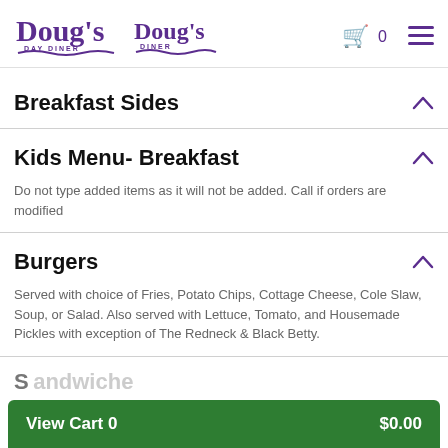Doug's Day Diner / Doug's Diner — Cart: 0
Breakfast Sides
Kids Menu- Breakfast
Do not type added items as it will not be added. Call if orders are modified
Burgers
Served with choice of Fries, Potato Chips, Cottage Cheese, Cole Slaw, Soup, or Salad. Also served with Lettuce, Tomato, and Housemade Pickles with exception of The Redneck & Black Betty.
View Cart 0  $0.00